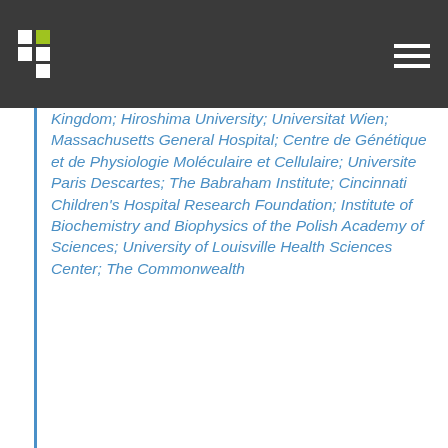[Logo and navigation header]
Kingdom; Hiroshima University; Universitat Wien; Massachusetts General Hospital; Centre de Génétique et de Physiologie Moléculaire et Cellulaire; Universite Paris Descartes; The Babraham Institute; Cincinnati Children's Hospital Research Foundation; Institute of Biochemistry and Biophysics of the Polish Academy of Sciences; University of Louisville Health Sciences Center; The Commonwealth ...